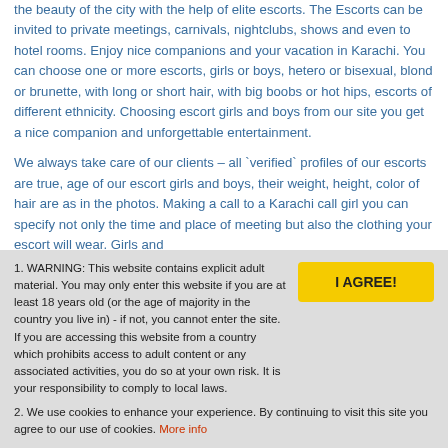the beauty of the city with the help of elite escorts. The Escorts can be invited to private meetings, carnivals, nightclubs, shows and even to hotel rooms. Enjoy nice companions and your vacation in Karachi. You can choose one or more escorts, girls or boys, hetero or bisexual, blond or brunette, with long or short hair, with big boobs or hot hips, escorts of different ethnicity. Choosing escort girls and boys from our site you get a nice companion and unforgettable entertainment.
We always take care of our clients – all `verified` profiles of our escorts are true, age of our escort girls and boys, their weight, height, color of hair are as in the photos. Making a call to a Karachi call girl you can specify not only the time and place of meeting but also the clothing your escort will wear. Girls and
1. WARNING: This website contains explicit adult material. You may only enter this website if you are at least 18 years old (or the age of majority in the country you live in) - if not, you cannot enter the site. If you are accessing this website from a country which prohibits access to adult content or any associated activities, you do so at your own risk. It is your responsibility to comply to local laws.
2. We use cookies to enhance your experience. By continuing to visit this site you agree to our use of cookies. More info